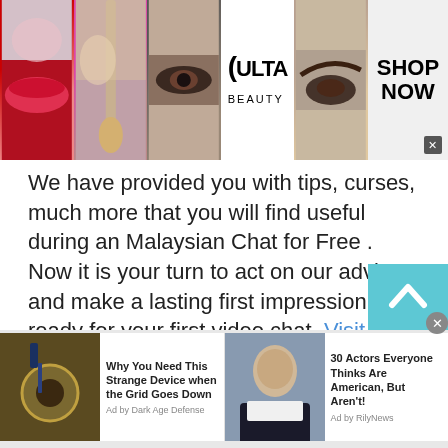[Figure (photo): Banner advertisement for Ulta Beauty showing makeup images (lips, brush, eye, Ulta logo, eye, SHOP NOW) across the top]
We have provided you with tips, curses, masseuse, and much more that you will find useful during an Malaysian Chat for Free . Now it is your turn to act on our advice and make a lasting first impression. Get ready for your first video chat. Visit our chatrooms for more information and get started now!
[Figure (screenshot): Scroll-to-top button (teal/cyan with upward chevron) on the right side]
[Figure (photo): Ad: Why You Need This Strange Device when the Grid Goes Down — Ad by Dark Age Defense]
[Figure (photo): Ad: 30 Actors Everyone Thinks Are American, But Aren't! — Ad by RilyNews]